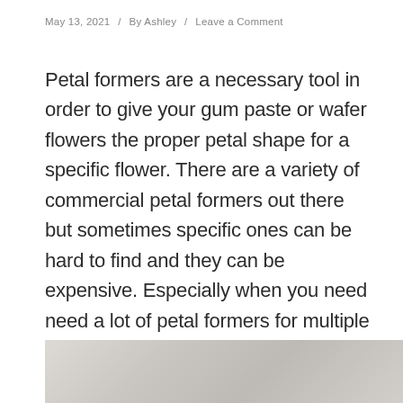May 13, 2021  /  By Ashley  /  Leave a Comment
Petal formers are a necessary tool in order to give your gum paste or wafer flowers the proper petal shape for a specific flower. There are a variety of commercial petal formers out there but sometimes specific ones can be hard to find and they can be expensive. Especially when you need need a lot of petal formers for multiple flowers.
[Figure (photo): Partial view of a photo, appears to show a light grey/white surface, possibly a marble or stone background.]